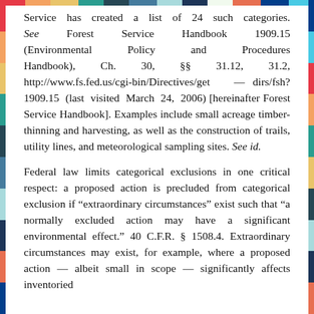Service has created a list of 24 such categories. See Forest Service Handbook 1909.15 (Environmental Policy and Procedures Handbook), Ch. 30, §§ 31.12, 31.2, http://www.fs.fed.us/cgi-bin/Directives/get—dirs/fsh?1909.15 (last visited March 24, 2006) [hereinafter Forest Service Handbook]. Examples include small acreage timber-thinning and harvesting, as well as the construction of trails, utility lines, and meteorological sampling sites. See id.
Federal law limits categorical exclusions in one critical respect: a proposed action is precluded from categorical exclusion if "extraordinary circumstances" exist such that "a normally excluded action may have a significant environmental effect." 40 C.F.R. § 1508.4. Extraordinary circumstances may exist, for example, where a proposed action — albeit small in scope — significantly affects inventoried roadless areas, threatened or endangered species, flood plains,